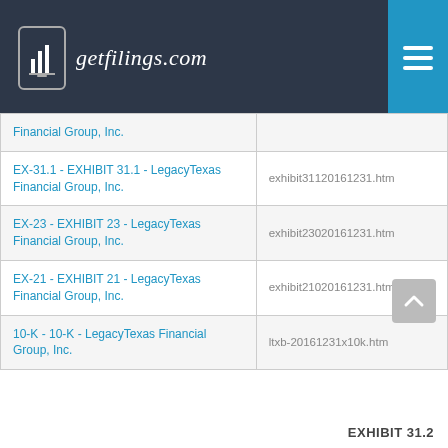getfilings.com
| Filing | Filename |
| --- | --- |
| Financial Group, Inc. |  |
| EX-31.1 - EXHIBIT 31.1 - LegacyTexas Financial Group, Inc. | exhibit31120161231.htm |
| EX-23 - EXHIBIT 23 - LegacyTexas Financial Group, Inc. | exhibit23020161231.htm |
| EX-21 - EXHIBIT 21 - LegacyTexas Financial Group, Inc. | exhibit21020161231.htm |
| 10-K - 10-K - LegacyTexas Financial Group, Inc. | ltxb-20161231x10k.htm |
EXHIBIT 31.2